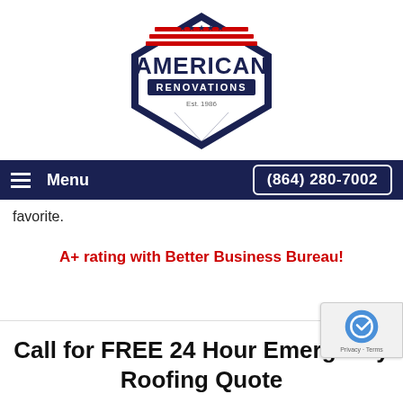[Figure (logo): American Renovations logo — diamond/hexagon shape in navy blue with red and white stripes at top, stars, and text 'AMERICAN RENOVATIONS Est. 1986']
Menu   (864) 280-7002
favorite.
A+ rating with Better Business Bureau!
Call for FREE 24 Hour Emergency Roofing Quote